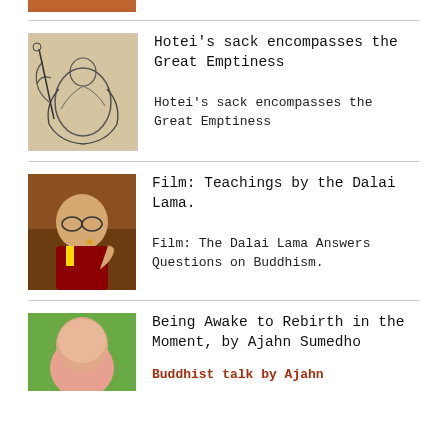[Figure (photo): Partial top image, reddish-brown tones, cropped head or figure]
[Figure (illustration): Hotei figure, ink brush drawing on beige background, gestural lines of a rotund figure with sack]
Hotei’s sack encompasses the Great Emptiness
Hotei’s sack encompasses the Great Emptiness
[Figure (photo): Dalai Lama speaking, wearing maroon and yellow robes, glasses, microphone, warm brown background]
Film: Teachings by the Dalai Lama.
Film: The Dalai Lama Answers Questions on Buddhism.
[Figure (photo): Ajahn Sumedho, shaved head monk, green background]
Being Awake to Rebirth in the Moment, by Ajahn Sumedho
Buddhist talk by Ajahn